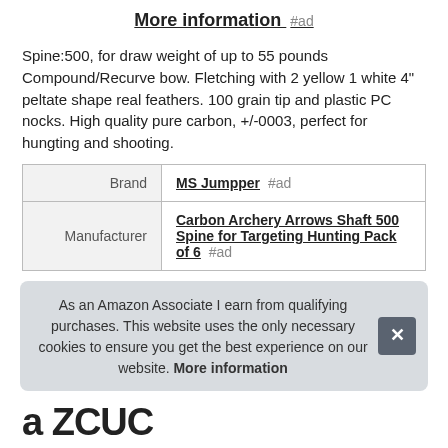More information #ad
Spine:500, for draw weight of up to 55 pounds Compound/Recurve bow. Fletching with 2 yellow 1 white 4" peltate shape real feathers. 100 grain tip and plastic PC nocks. High quality pure carbon, +/-0003, perfect for hungting and shooting.
| Brand | MS Jumpper #ad |
| Manufacturer | Carbon Archery Arrows Shaft 500 Spine for Targeting Hunting Pack of 6 #ad |
As an Amazon Associate I earn from qualifying purchases. This website uses the only necessary cookies to ensure you get the best experience on our website. More information
a ZCUC